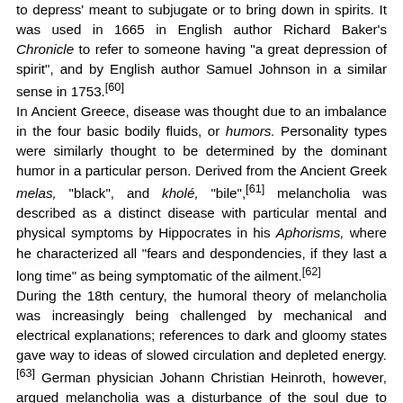to depress' meant to subjugate or to bring down in spirits. It was used in 1665 in English author Richard Baker's Chronicle to refer to someone having "a great depression of spirit", and by English author Samuel Johnson in a similar sense in 1753.[60] In Ancient Greece, disease was thought due to an imbalance in the four basic bodily fluids, or humors. Personality types were similarly thought to be determined by the dominant humor in a particular person. Derived from the Ancient Greek melas, "black", and kholé, "bile",[61] melancholia was described as a distinct disease with particular mental and physical symptoms by Hippocrates in his Aphorisms, where he characterized all "fears and despondencies, if they last a long time" as being symptomatic of the ailment.[62] During the 18th century, the humoral theory of melancholia was increasingly being challenged by mechanical and electrical explanations; references to dark and gloomy states gave way to ideas of slowed circulation and depleted energy.[63] German physician Johann Christian Heinroth, however, argued melancholia was a disturbance of the soul due to moral conflict within the patient. In the 20th century, the German psychiatrist Emil